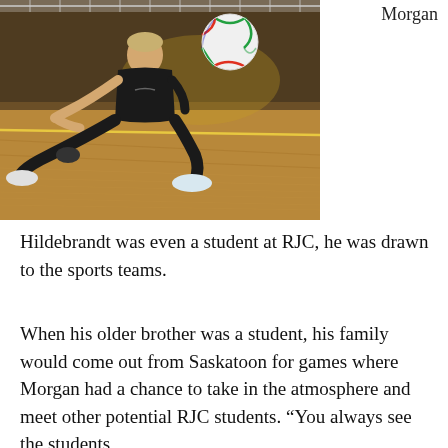[Figure (photo): A young male volleyball player in a black uniform is diving/sliding on a wooden gym floor to receive a volleyball. The ball is in the air above him. The gym background shows yellow/gold court markings and bleachers.]
Morgan
Hildebrandt was even a student at RJC, he was drawn to the sports teams.
When his older brother was a student, his family would come out from Saskatoon for games where Morgan had a chance to take in the atmosphere and meet other potential RJC students. “You always see the students